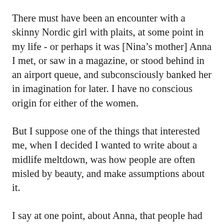There must have been an encounter with a skinny Nordic girl with plaits, at some point in my life - or perhaps it was [Nina’s mother] Anna I met, or saw in a magazine, or stood behind in an airport queue, and subconsciously banked her in imagination for later. I have no conscious origin for either of the women.
But I suppose one of the things that interested me, when I decided I wanted to write about a midlife meltdown, was how people are often misled by beauty, and make assumptions about it.
I say at one point, about Anna, that people had always misinterpreted her blondness, her cornflower blue eyes, her easy-tanning skin, with summer and with lightness of spirit, and I was interested in her as a tortured frustrated soul…